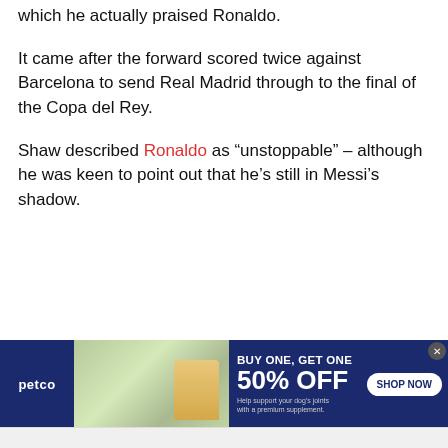which he actually praised Ronaldo.
It came after the forward scored twice against Barcelona to send Real Madrid through to the final of the Copa del Rey.
Shaw described Ronaldo as “unstoppable” – although he was keen to point out that he’s still in Messi’s shadow.
[Figure (infographic): Petco advertisement banner: BUY ONE, GET ONE 50% OFF. Help support your dog's joints with a premium supplement. SHOP NOW button. Shows woman with dog and supplement product.]